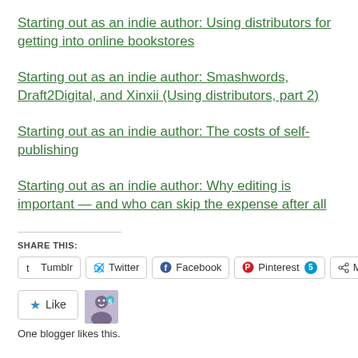Starting out as an indie author: Using distributors for getting into online bookstores
Starting out as an indie author: Smashwords, Draft2Digital, and Xinxii (Using distributors, part 2)
Starting out as an indie author: The costs of self-publishing
Starting out as an indie author: Why editing is important — and who can skip the expense after all
SHARE THIS:
Tumblr  Twitter  Facebook  Pinterest 5  More
Like
One blogger likes this.